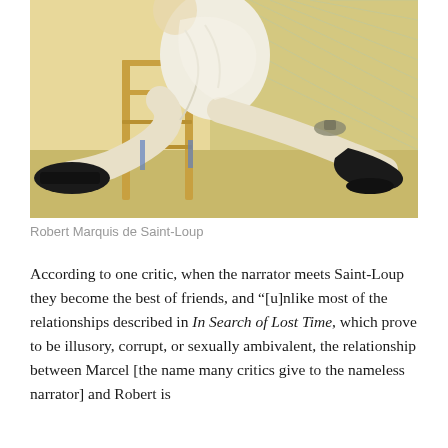[Figure (illustration): A painting/illustration showing Robert Marquis de Saint-Loup - a figure in white/cream clothing seated and leaning, wearing black shoes, with a bamboo or wooden chair visible, warm yellow-beige background tones.]
Robert Marquis de Saint-Loup
According to one critic, when the narrator meets Saint-Loup they become the best of friends, and “[u]nlike most of the relationships described in In Search of Lost Time, which prove to be illusory, corrupt, or sexually ambivalent, the relationship between Marcel [the name many critics give to the nameless narrator] and Robert is